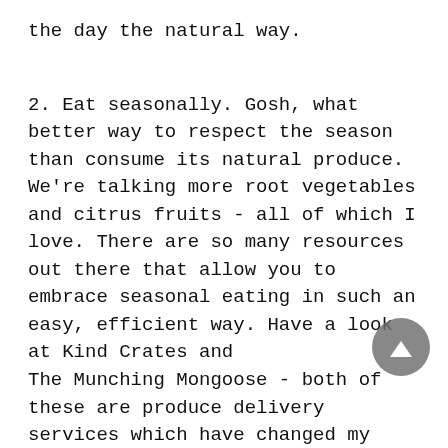the day the natural way.
2. Eat seasonally. Gosh, what better way to respect the season than consume its natural produce. We're talking more root vegetables and citrus fruits - all of which I love. There are so many resources out there that allow you to embrace seasonal eating in such an easy, efficient way. Have a look at Kind Crates and The Munching Mongoose - both of these are produce delivery services which have changed my life.
3. This tip carries on from my previous one: change the way you cook.  In summer I am all for gorgeous fresh salads and raw eating but now that it's cold outside it's wonderful to embrace what your body is naturally looking for. Mine? Soups, strews and all things warm and